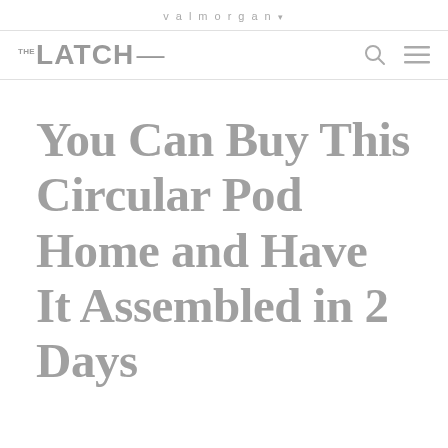valmorgan
[Figure (logo): THE LATCH— logo in grey with search and hamburger menu icons on the right]
You Can Buy This Circular Pod Home and Have It Assembled in 2 Days